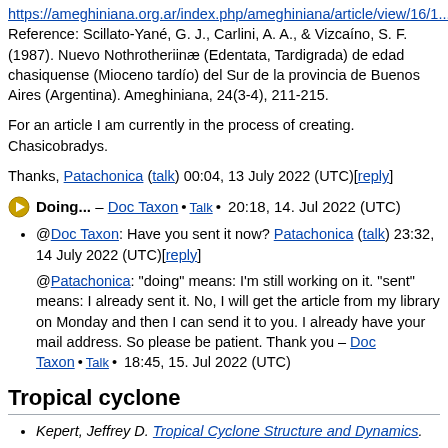https://ameghiniana.org.ar/index.php/ameghiniana/article/view/16/1... Reference: Scillato-Yané, G. J., Carlini, A. A., & Vizcaíno, S. F. (1987). Nuevo Nothrotheriinæ (Edentata, Tardigrada) de edad chasiquense (Mioceno tardío) del Sur de la provincia de Buenos Aires (Argentina). Ameghiniana, 24(3-4), 211-215.
For an article I am currently in the process of creating. Chasicobradys.
Thanks, Patachonica (talk) 00:04, 13 July 2022 (UTC)[reply]
Doing... – Doc Taxon • Talk • 20:18, 14. Jul 2022 (UTC)
@Doc Taxon: Have you sent it now? Patachonica (talk) 23:32, 14 July 2022 (UTC)[reply]
@Patachonica: "doing" means: I'm still working on it. "sent" means: I already sent it. No, I will get the article from my library on Monday and then I can send it to you. I already have your mail address. So please be patient. Thank you – Doc Taxon • Talk • 18:45, 15. Jul 2022 (UTC)
Tropical cyclone
Kepert, Jeffrey D. Tropical Cyclone Structure and Dynamics.